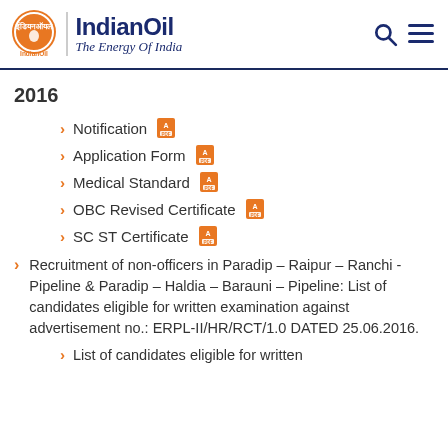IndianOil – The Energy Of India
2016
Notification [PDF]
Application Form [PDF]
Medical Standard [PDF]
OBC Revised Certificate [PDF]
SC ST Certificate [PDF]
Recruitment of non-officers in Paradip – Raipur – Ranchi - Pipeline & Paradip – Haldia – Barauni – Pipeline: List of candidates eligible for written examination against advertisement no.: ERPL-II/HR/RCT/1.0 DATED 25.06.2016.
List of candidates eligible for written examination for the post of [...]